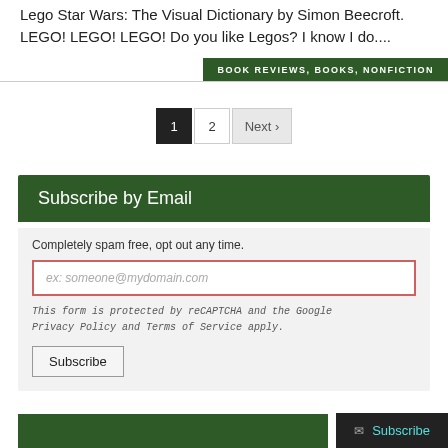Lego Star Wars: The Visual Dictionary by Simon Beecroft. LEGO! LEGO! LEGO! Do you like Legos? I know I do....
BOOK REVIEWS, BOOKS, NONFICTION
1  2  Next ›
Subscribe by Email
Completely spam free, opt out any time.
ex: someone@mydomain.com
This form is protected by reCAPTCHA and the Google Privacy Policy and Terms of Service apply.
Subscribe
Subscribe